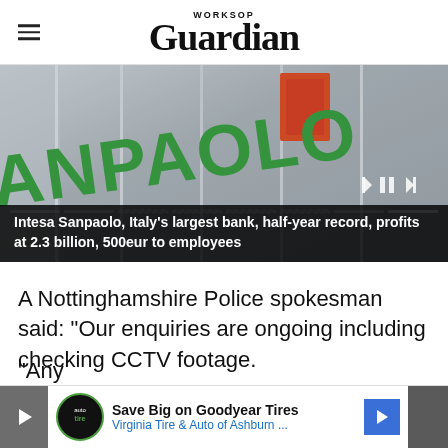WORKSOP Guardian
[Figure (photo): Intesa Sanpaolo bank exterior sign with green SANPAOLO lettering on building facade]
Intesa Sanpaolo, Italy's largest bank, half-year record, profits at 2.3 billion, 500eur to employees
A Nottinghamshire Police spokesman said: "Our enquiries are ongoing including checking CCTV footage.
"Any